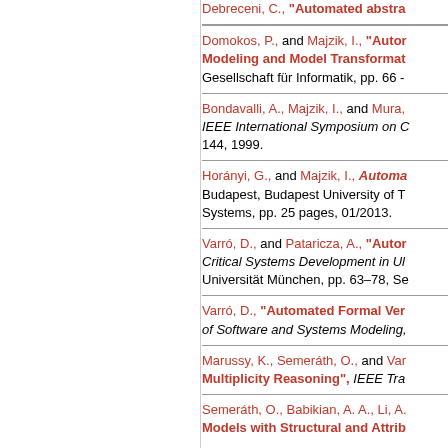Debreceni, C., "Automated abstra...
Domokos, P., and Majzik, I., "Autor... Modeling and Model Transformat... Gesellschaft für Informatik, pp. 66 -
Bondavalli, A., Majzik, I., and Mura,... IEEE International Symposium on C... 144, 1999.
Horányi, G., and Majzik, I., Automa... Budapest, Budapest University of T... Systems, pp. 25 pages, 01/2013.
Varró, D., and Pataricza, A., "Autor... Critical Systems Development in Ul... Universität München, pp. 63–78, Se...
Varró, D., "Automated Formal Ver... of Software and Systems Modeling,...
Marussy, K., Semeráth, O., and Var... Multiplicity Reasoning", IEEE Tra...
Semeráth, O., Babikian, A. A., Li, A.... Models with Structural and Attrib...